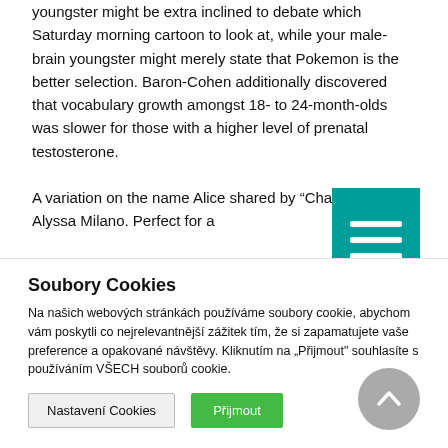youngster might be extra inclined to debate which Saturday morning cartoon to look at, while your male-brain youngster might merely state that Pokemon is the better selection. Baron-Cohen additionally discovered that vocabulary growth amongst 18- to 24-month-olds was slower for those with a higher level of prenatal testosterone.
A variation on the name Alice shared by “Charmed” actor Alyssa Milano. Perfect for a
[Figure (other): Teal/green hamburger menu button icon with three white horizontal lines]
Soubory Cookies
Na našich webových stránkách používáme soubory cookie, abychom vám poskytli co nejrelevantnější zážitek tím, že si zapamatujete vaše preference a opakované návštěvy. Kliknutím na „Ppíijmout“ souhlasíte s používáním VŠECH souborů cookie.
Nastavení Cookies
Přijmout
[Figure (other): Gray circular scroll-to-top button with upward chevron arrow]